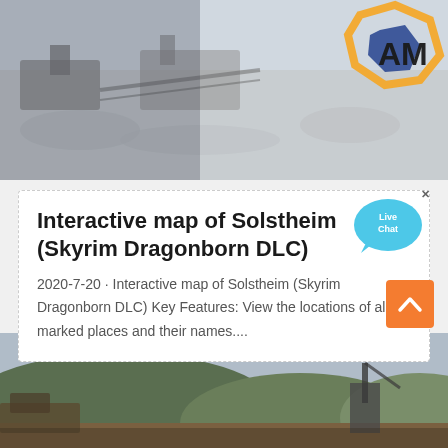[Figure (photo): Aerial or wide-angle photo of a mining/construction site with crushed stone/gravel and heavy machinery. Orange and blue logo partially visible at top right with letters 'AM'.]
Interactive map of Solstheim (Skyrim Dragonborn DLC)
2020-7-20 · Interactive map of Solstheim (Skyrim Dragonborn DLC) Key Features: View the locations of all marked places and their names....
[Figure (photo): Outdoor construction/mining landscape with hills and heavy machinery in the background.]